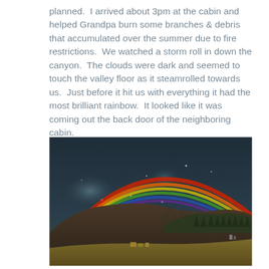planned.  I arrived about 3pm at the cabin and helped Grandpa burn some branches & debris that accumulated over the summer due to fire restrictions.  We watched a storm roll in down the canyon.  The clouds were dark and seemed to touch the valley floor as it steamrolled towards us.  Just before it hit us with everything it had the most brilliant rainbow.  It looked like it was coming out the back door of the neighboring cabin.
[Figure (photo): Night photograph of a vivid rainbow arching over a dark, stormy sky above mountain hills with trees and possibly buildings lit at the base.]